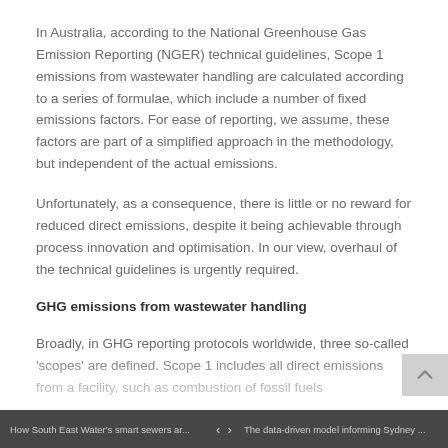In Australia, according to the National Greenhouse Gas Emission Reporting (NGER) technical guidelines, Scope 1 emissions from wastewater handling are calculated according to a series of formulae, which include a number of fixed emissions factors. For ease of reporting, we assume, these factors are part of a simplified approach in the methodology, but independent of the actual emissions.
Unfortunately, as a consequence, there is little or no reward for reduced direct emissions, despite it being achievable through process innovation and optimisation. In our view, overhaul of the technical guidelines is urgently required.
GHG emissions from wastewater handling
Broadly, in GHG reporting protocols worldwide, three so-called 'scopes' are defined. Scope 1 includes all direct emissions from a facility, such as combustion of fossil fuels
How South East Water's smart sewers ar...   < >   The data-driven model informing Sydney ...